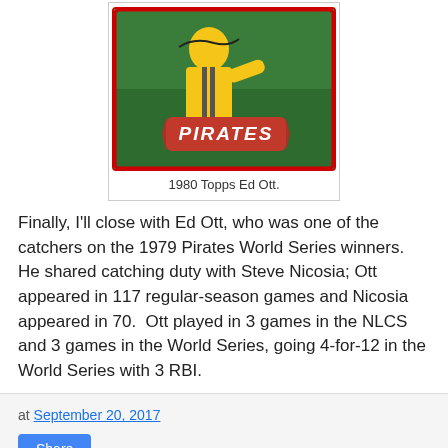[Figure (photo): 1980 Topps baseball card of Ed Ott showing a player in Pittsburgh Pirates yellow uniform with a red banner reading PIRATES on a green background]
1980 Topps Ed Ott.
Finally, I'll close with Ed Ott, who was one of the catchers on the 1979 Pirates World Series winners.  He shared catching duty with Steve Nicosia; Ott appeared in 117 regular-season games and Nicosia appeared in 70.  Ott played in 3 games in the NLCS and 3 games in the World Series, going 4-for-12 in the World Series with 3 RBI.
at September 20, 2017
Share
No comments:
Post a Comment